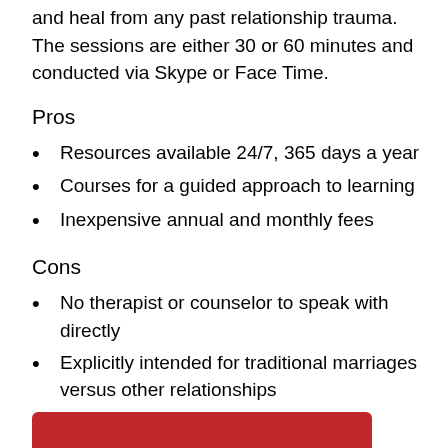and heal from any past relationship trauma. The sessions are either 30 or 60 minutes and conducted via Skype or Face Time.
Pros
Resources available 24/7, 365 days a year
Courses for a guided approach to learning
Inexpensive annual and monthly fees
Cons
No therapist or counselor to speak with directly
Explicitly intended for traditional marriages versus other relationships
[Figure (other): Red bar/button at bottom of page]